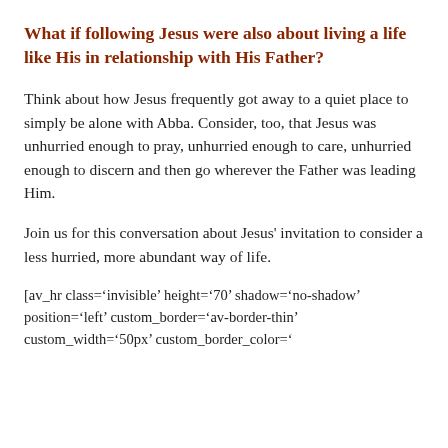What if following Jesus were also about living a life like His in relationship with His Father?
Think about how Jesus frequently got away to a quiet place to simply be alone with Abba. Consider, too, that Jesus was unhurried enough to pray, unhurried enough to care, unhurried enough to discern and then go wherever the Father was leading Him.
Join us for this conversation about Jesus' invitation to consider a less hurried, more abundant way of life.
[av_hr class='invisible' height='70' shadow='no-shadow' position='left' custom_border='av-border-thin' custom_width='50px' custom_border_color='